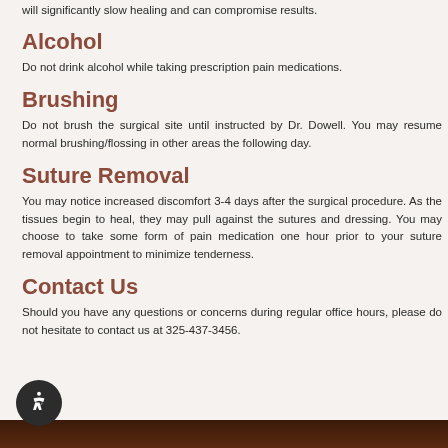will significantly slow healing and can compromise results.
Alcohol
Do not drink alcohol while taking prescription pain medications.
Brushing
Do not brush the surgical site until instructed by Dr. Dowell. You may resume normal brushing/flossing in other areas the following day.
Suture Removal
You may notice increased discomfort 3-4 days after the surgical procedure. As the tissues begin to heal, they may pull against the sutures and dressing. You may choose to take some form of pain medication one hour prior to your suture removal appointment to minimize tenderness.
Contact Us
Should you have any questions or concerns during regular office hours, please do not hesitate to contact us at 325-437-3456.